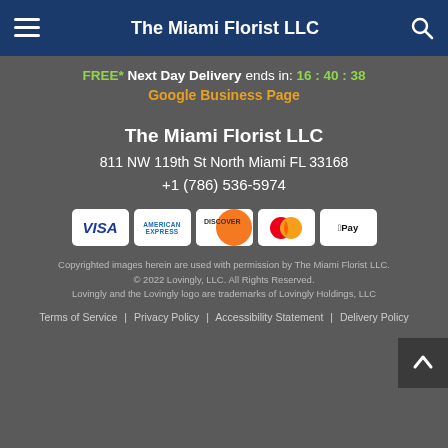The Miami Florist LLC
FREE* Next Day Delivery ends in: 16:40:38
Google Business Page
The Miami Florist LLC
811 NW 119th St North Miami FL 33168
+1 (786) 536-5974
[Figure (other): Payment method icons: VISA, American Express, Discover, Mastercard, Apple Pay]
Copyrighted images herein are used with permission by The Miami Florist LLC.
© 2022 Lovingly, LLC. All Rights Reserved.
Lovingly and the Lovingly logo are trademarks of Lovingly Holdings, LLC
Terms of Service | Privacy Policy | Accessibility Statement | Delivery Policy